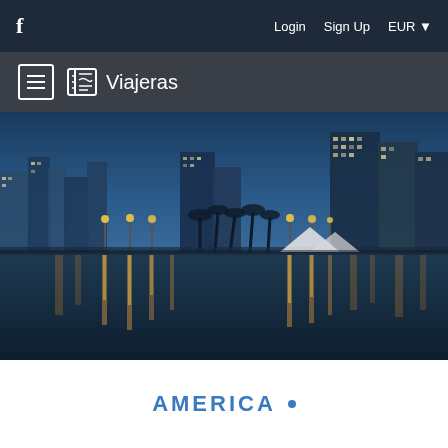f  Login  Sign Up  EUR
Viajeras
[Figure (photo): Night cityscape reflected on wet beach/waterfront surface. City skyline with illuminated buildings and street lights creating long reflections on the water/wet sand. Blue-toned twilight atmosphere.]
AMERICA •